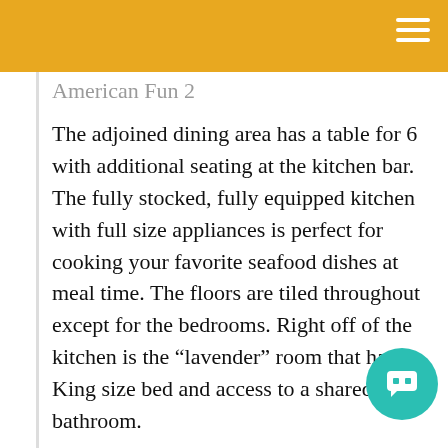American Fun 2
The adjoined dining area has a table for 6 with additional seating at the kitchen bar. The fully stocked, fully equipped kitchen with full size appliances is perfect for cooking your favorite seafood dishes at meal time. The floors are tiled throughout except for the bedrooms. Right off of the kitchen is the “lavender” room that has a King size bed and access to a shared bathroom.
American Fun 2